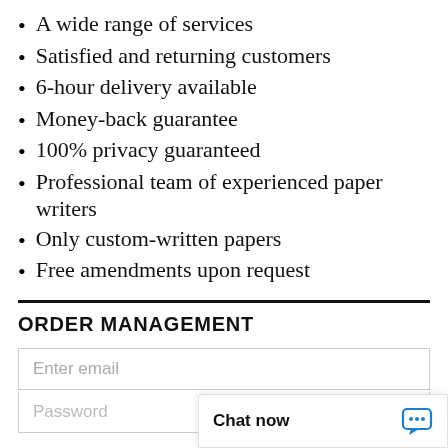A wide range of services
Satisfied and returning customers
6-hour delivery available
Money-back guarantee
100% privacy guaranteed
Professional team of experienced paper writers
Only custom-written papers
Free amendments upon request
ORDER MANAGEMENT
Enter email
Password
Chat now